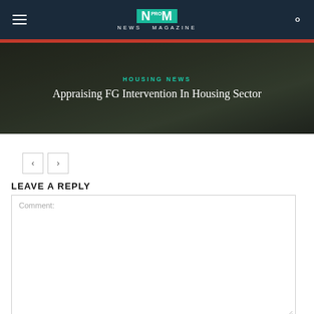NM PRO NEWS MAGAZINE
[Figure (photo): Hero banner image showing a residential housing scene with trees and fencing, overlaid with text. Category label: HOUSING NEWS. Title: Appraising FG Intervention In Housing Sector]
< >
LEAVE A REPLY
Comment: